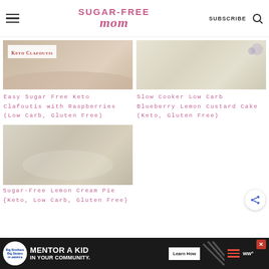Sugar-Free Mom — SUBSCRIBE
[Figure (photo): Keto Clafoutis dish with raspberries, white baking dish, text overlay 'Keto Clafoutis']
Easy Sugar Free Keto Clafoutis with Raspberries (Low Carb, Gluten Free)
[Figure (photo): Slow Cooker Blueberry Lemon Custard Cake slice on white plate]
Slow Cooker Low Carb Blueberry Lemon Custard Cake (Keto, Gluten Free)
[Figure (photo): Sugar-Free Lemon Cream Pie slice on white plate with fork]
Sugar-Free Lemon Cream Pie {Keto, Low Carb, Gluten Free}
MENTOR A KID IN YOUR COMMUNITY. — Learn How — Big Brothers Big Sisters of America